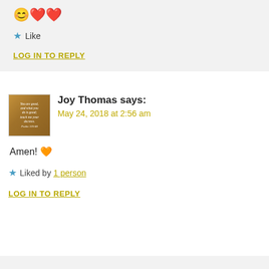😊❤️❤️
★ Like
LOG IN TO REPLY
[Figure (photo): Avatar image for Joy Thomas showing a brown/tan background with small white text about being good]
Joy Thomas says:
May 24, 2018 at 2:56 am
Amen! 🧡
★ Liked by 1 person
LOG IN TO REPLY